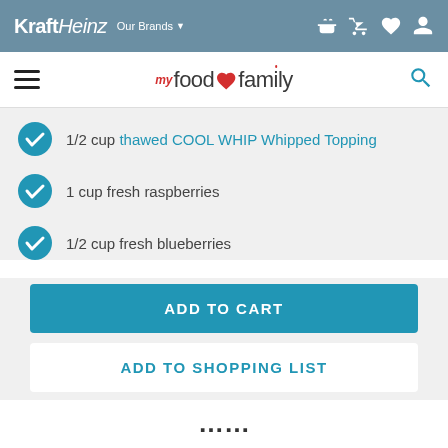Kraft Heinz | Our Brands
[Figure (screenshot): My Food and Family navigation logo with hamburger menu and search icon]
1/2 cup thawed COOL WHIP Whipped Topping
1 cup fresh raspberries
1/2 cup fresh blueberries
ADD TO CART
ADD TO SHOPPING LIST